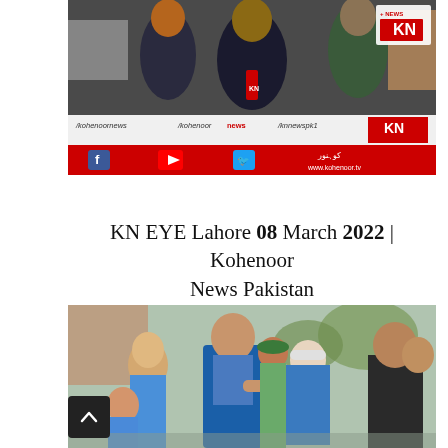[Figure (screenshot): Kohenoor News TV broadcast screenshot showing reporter with KN microphone and people in background, with social media handles and KN News logo overlay]
KN EYE Lahore 08 March 2022 | Kohenoor News Pakistan
[Figure (photo): Outdoor scene showing a man in suit gesturing with outstretched hand toward a woman in hijab, with crowd of people including children in background]